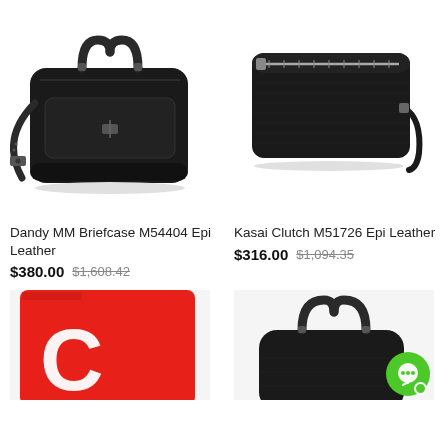[Figure (photo): Black Dandy MM Briefcase with shoulder strap on white background]
[Figure (photo): Black Kasai Clutch with wrist strap and silver zipper on white background]
Dandy MM Briefcase M54404 Epi Leather
$380.00  $1,608.42
Kasai Clutch M51726 Epi Leather
$316.00  $1,094.35
[Figure (photo): Red wallet/pouch with white logo, partially visible at bottom]
[Figure (photo): Black handbag partially visible at bottom right, with green chat icon overlay]